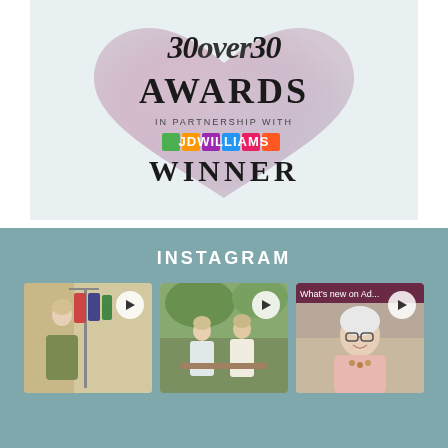[Figure (logo): 50 over 50 Awards in partnership with JD Williams - WINNER award logo with heart-shaped watercolor background]
INSTAGRAM
[Figure (photo): Instagram video thumbnail - woman in olive green top standing in front of clothing rack]
[Figure (photo): Instagram video thumbnail - two women seated outdoors in garden setting]
[Figure (photo): Instagram video thumbnail - older woman with white hair and glasses, text overlay 'What's new on Ad...']